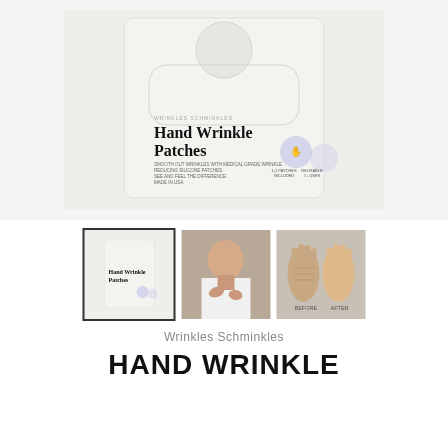[Figure (photo): Product photo of Wrinkles Schminkles Hand Wrinkle Patches box — a white/cream rectangular package with bold text 'Hand Wrinkle Patches' and small icons showing patch count and reusability]
[Figure (photo): Thumbnail row: first thumbnail (selected, with border) shows the product box; second thumbnail shows a woman touching her neck/chest area in a white top; third thumbnail shows two hands side-by-side with before/after labeling]
Wrinkles Schminkles
HAND WRINKLE